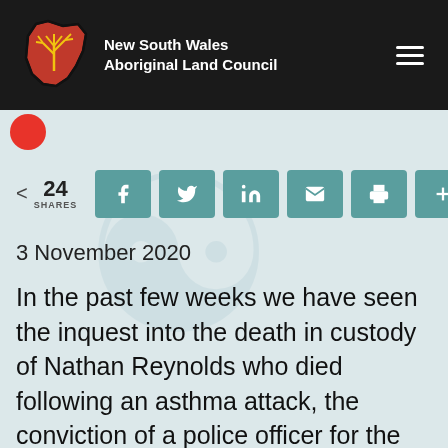New South Wales Aboriginal Land Council
24 SHARES
3 November 2020
In the past few weeks we have seen the inquest into the death in custody of Nathan Reynolds who died following an asthma attack, the conviction of a police officer for the